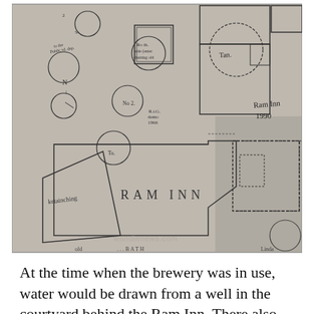[Figure (schematic): Historical hand-drawn floor plan / map of Ram Inn area showing building outlines, circular features (trees or vats), and handwritten labels including 'Ram Inn 1990', 'RAM INN', 'ketainching', 'Tan', and other annotations. Watermark 'wandlenews.com' visible.]
At the time when the brewery was in use, water would be drawn from a well in the courtyard behind the Ram Inn. There also